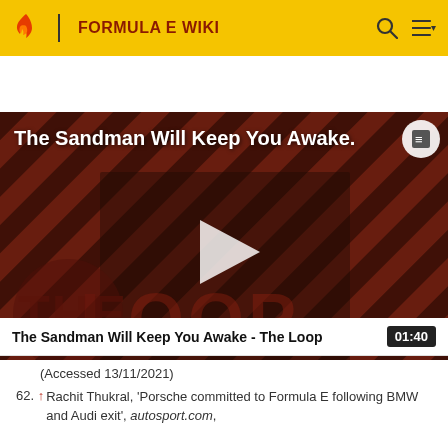FORMULA E WIKI
[Figure (screenshot): Video thumbnail showing a dark-cloaked figure against a red and black striped background with text overlay 'The Sandman Will Keep You Awake.' and 'THE LOOP' watermark, with a play button in the center]
The Sandman Will Keep You Awake - The Loop  01:40
(Accessed 13/11/2021)
62. ↑ Rachit Thukral, 'Porsche committed to Formula E following BMW and Audi exit', autosport.com,